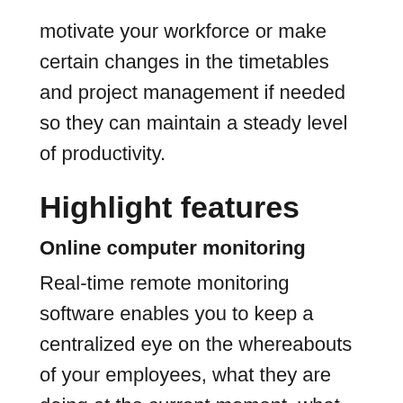motivate your workforce or make certain changes in the timetables and project management if needed so they can maintain a steady level of productivity.
Highlight features
Online computer monitoring
Real-time remote monitoring software enables you to keep a centralized eye on the whereabouts of your employees, what they are doing at the current moment, what websites they are visiting, and so on. In fact, if certain employee violations occur,